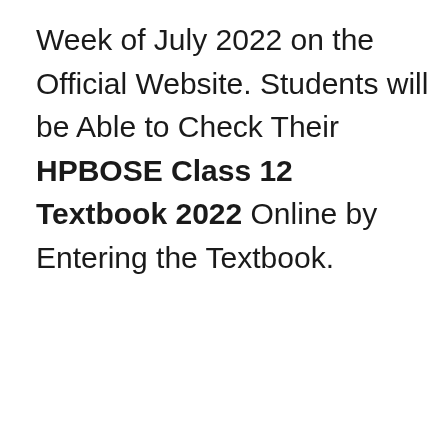Week of July 2022 on the Official Website. Students will be Able to Check Their HPBOSE Class 12 Textbook 2022 Online by Entering the Textbook.